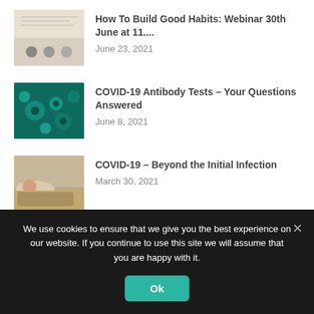How To Build Good Habits: Webinar 30th June at 11....
June 23, 2021
COVID-19 Antibody Tests – Your Questions Answered
June 8, 2021
COVID-19 – Beyond the Initial Infection
March 30, 2021
Cancer 30 Gene Panel
March 11, 2021
We use cookies to ensure that we give you the best experience on our website. If you continue to use this site we will assume that you are happy with it.